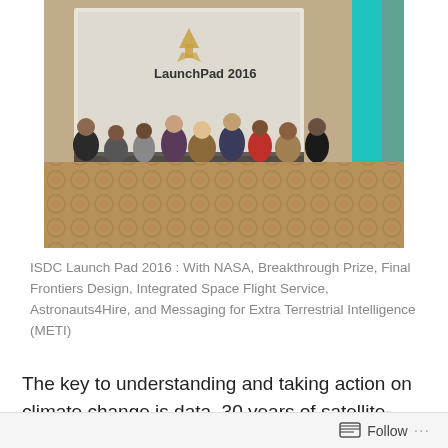[Figure (photo): Group photo of approximately 9 people standing together in a conference room or event hall in front of a projection screen showing 'LaunchPad 2016' with a rocket logo. The room has teal/cyan lighting columns on the right and an ornate carpet on the floor.]
ISDC Launch Pad 2016 : With NASA, Breakthrough Prize, Final Frontiers Design, Integrated Space Flight Service, Astronauts4Hire, and Messaging for Extra Terrestrial Intelligence (METI)
The key to understanding and taking action on climate change is data. 30 years of satellite-based climate data